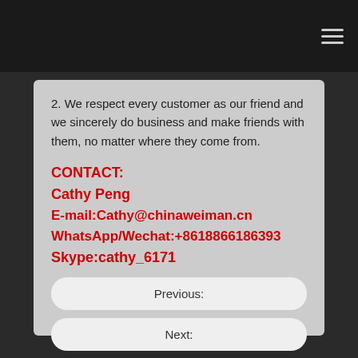2. We respect every customer as our friend and we sincerely do business and make friends with them, no matter where they come from.
CONTACT:
Cathy Peng
E-mail:Cathy@chinaweiman.cn
WhatsApp/Wechat:+8618866186393
Skype:cathy_6171
Previous:
Next: